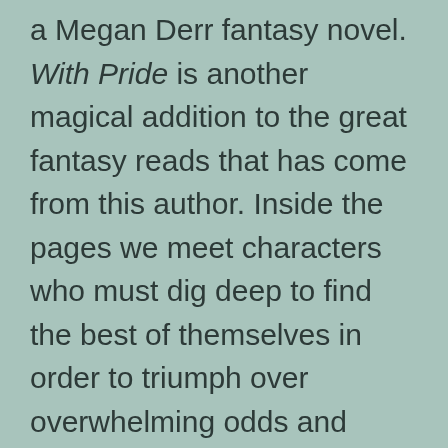a Megan Derr fantasy novel. With Pride is another magical addition to the great fantasy reads that has come from this author. Inside the pages we meet characters who must dig deep to find the best of themselves in order to triumph over overwhelming odds and almost certain destruction. There is an abundance of pain, deaths of innocents, and treachery. And to accompany that all, there will be glorious adventures, powerful battles, a dragon or two, dark magic, and of course, a troubled and tortured path to true love.
Ah, the romance. Well, to be truthful there isn't